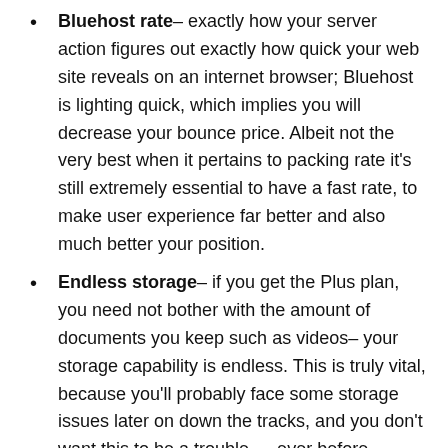Bluehost rate– exactly how your server action figures out exactly how quick your web site reveals on an internet browser; Bluehost is lighting quick, which implies you will decrease your bounce price. Albeit not the very best when it pertains to packing rate it's still extremely essential to have a fast rate, to make user experience far better and also much better your position.
Endless storage– if you get the Plus plan, you need not bother with the amount of documents you keep such as videos– your storage capability is endless. This is truly vital, because you'll probably face some storage issues later on down the tracks, and you don't want this to be a trouble … ever before.
Last but not least, client support is 24/7, which suggests despite where you are in the world, you can get in touch with the support team to repair your website problems. Pretty conventional nowadays, yet we're taking this for granted… it's